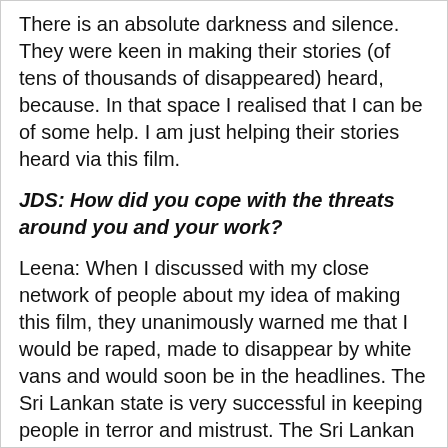There is an absolute darkness and silence. They were keen in making their stories (of tens of thousands of disappeared) heard, because. In that space I realised that I can be of some help. I am just helping their stories heard via this film.
JDS: How did you cope with the threats around you and your work?
Leena: When I discussed with my close network of people about my idea of making this film, they unanimously warned me that I would be raped, made to disappear by white vans and would soon be in the headlines. The Sri Lankan state is very successful in keeping people in terror and mistrust. The Sri Lankan state is systematically nurturing a strong feeling among the people of the same community and neighbourhood not to trust each other. The people do not know whom to trust and they find informants everywhere. They are being forced not to trust one another. The state is doing this to